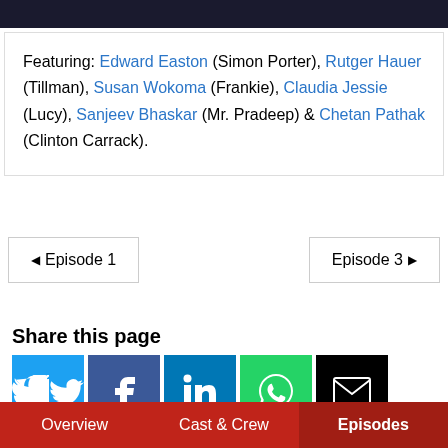[Figure (photo): Dark image at top of page, cropped]
Featuring: Edward Easton (Simon Porter), Rutger Hauer (Tillman), Susan Wokoma (Frankie), Claudia Jessie (Lucy), Sanjeev Bhaskar (Mr. Pradeep) & Chetan Pathak (Clinton Carrack).
◄ Episode 1   Episode 3 ►
Share this page
[Figure (infographic): Social share buttons: Twitter (blue), Facebook (dark blue), LinkedIn (blue), WhatsApp (green), Email (black)]
Overview   Cast & Crew   Episodes